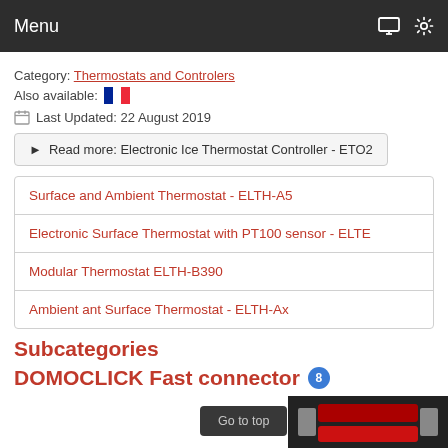Menu
Category: Thermostats and Controlers
Also available: [French flag]
Last Updated: 22 August 2019
Read more: Electronic Ice Thermostat Controller - ETO2
Surface and Ambient Thermostat - ELTH-A5
Electronic Surface Thermostat with PT100 sensor - ELTE
Modular Thermostat ELTH-B390
Ambient ant Surface Thermostat - ELTH-Ax
Subcategories
DOMOCLICK Fast connector 8